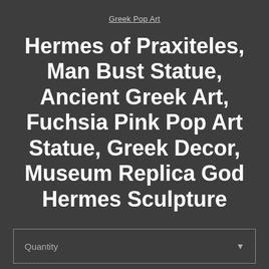Greek Pop Art
Hermes of Praxiteles, Man Bust Statue, Ancient Greek Art, Fuchsia Pink Pop Art Statue, Greek Decor, Museum Replica God Hermes Sculpture
Quantity
$50.87 $59.84 Add to cart
Shipping to United States: $36.75